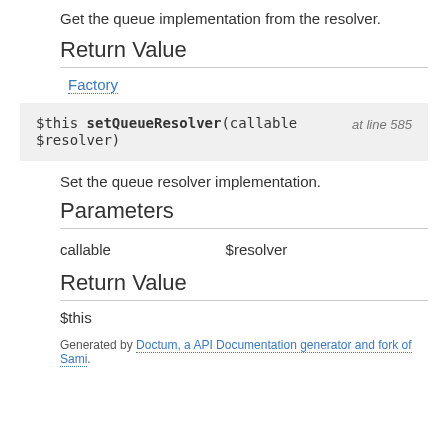Get the queue implementation from the resolver.
Return Value
Factory
$this setQueueResolver(callable $resolver)   at line 585
Set the queue resolver implementation.
Parameters
|  |  |
| --- | --- |
| callable | $resolver |
Return Value
$this
Generated by Doctum, a API Documentation generator and fork of Sami.